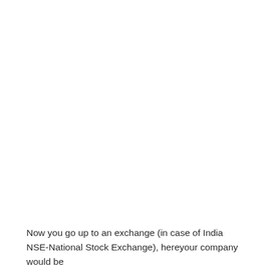Now you go up to an exchange (in case of India NSE-National Stock Exchange), hereyour company would be